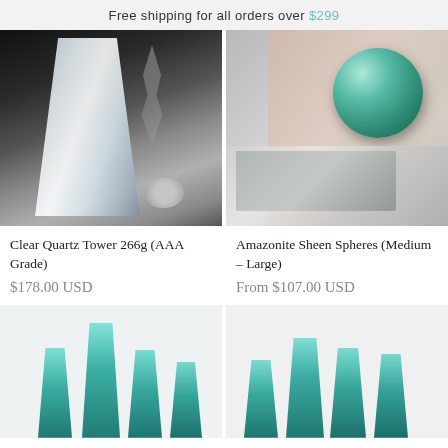Free shipping for all orders over $299
[Figure (photo): Clear quartz crystal tower on dark background with a decorative feather and small stone]
Clear Quartz Tower 266g (AAA Grade)
$178.00 USD
[Figure (photo): Hand holding a green amazonite sphere over a magazine/book]
Amazonite Sheen Spheres (Medium - Large)
From $107.00 USD
[Figure (photo): Teal/green crystal towers on light background]
[Figure (photo): Teal/green crystal towers on light gray background]